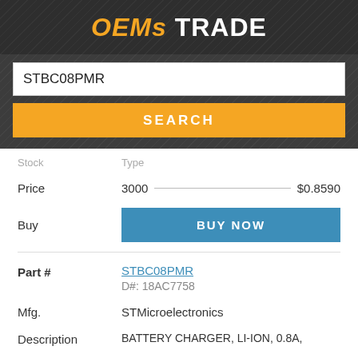OEMs TRADE
STBC08PMR
SEARCH
Stock  Type
Price  3000 ——— $0.8590
Buy  BUY NOW
Part #  STBC08PMR  D#: 18AC7758
Mfg.  STMicroelectronics
Description  BATTERY CHARGER, LI-ION, 0.8A,